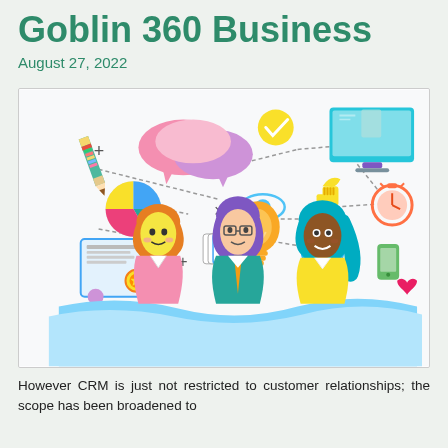Goblin 360 Business
August 27, 2022
[Figure (illustration): Colorful flat-style illustration of three diverse people (with orange, purple, and teal hair) surrounded by business and communication icons including chat bubbles, a monitor, a lightbulb, pie chart, pencil, certificate, thumbs up, info button, stopwatch, mobile phone, playing cards, and an eye, connected by dotted lines.]
However CRM is just not restricted to customer relationships; the scope has been broadened to